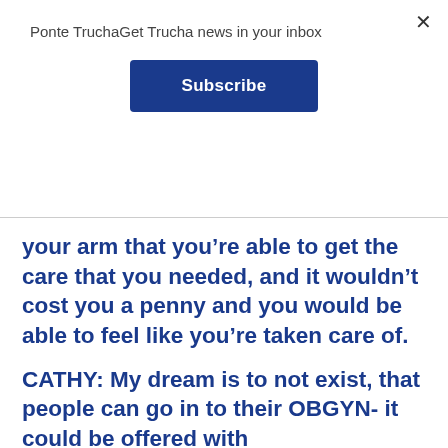Ponte TruchaGet Trucha news in your inbox
[Figure (other): Subscribe button — dark blue rounded rectangle with white bold text 'Subscribe']
your arm that you’re able to get the care that you needed, and it wouldn’t cost you a penny and you would be able to feel like you’re taken care of.
CATHY: My dream is to not exist, that people can go in to their OBGYN- it could be offered with